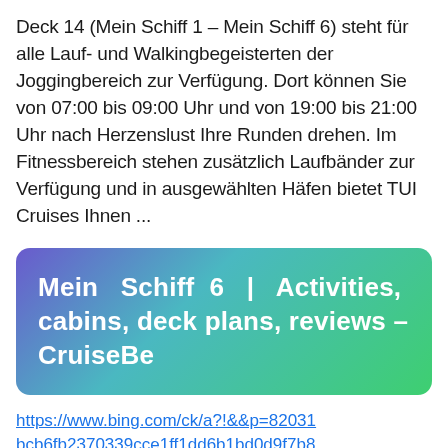Deck 14 (Mein Schiff 1 – Mein Schiff 6) steht für alle Lauf- und Walkingbegeisterten der Joggingbereich zur Verfügung. Dort können Sie von 07:00 bis 09:00 Uhr und von 19:00 bis 21:00 Uhr nach Herzenslust Ihre Runden drehen. Im Fitnessbereich stehen zusätzlich Laufbänder zur Verfügung und in ausgewählten Häfen bietet TUI Cruises Ihnen ...
[Figure (other): Gradient card with text: Mein Schiff 6 | Activities, cabins, deck plans, reviews – CruiseBe]
https://www.bing.com/ck/a?!&&p=82031bcb6fb2370339cce1ff1dd6b1bd0d9f7b8